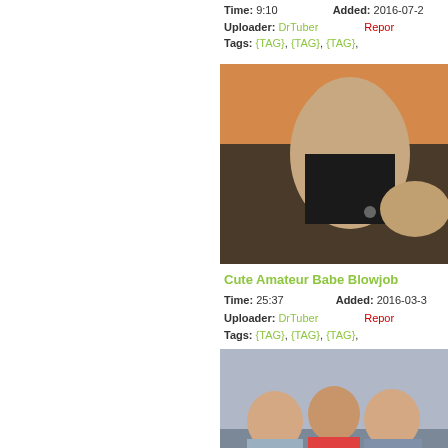Time: 9:10   Added: 2016-07-22
Uploader: DrTuber   Report
Tags: {TAG}, {TAG}, {TAG},
[Figure (photo): Thumbnail of video: Cute Amateur Babe Blowjob]
Cute Amateur Babe Blowjob
Time: 25:37   Added: 2016-03-31
Uploader: DrTuber   Report
Tags: {TAG}, {TAG}, {TAG},
[Figure (photo): Thumbnail of video showing three people on a couch]